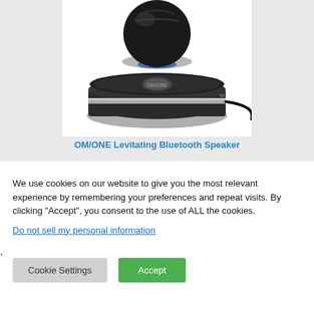[Figure (photo): A levitating black spherical Bluetooth speaker floating above a round black base with a silver ring, with a cable plugged into the side, set against a white background.]
OM/ONE Levitating Bluetooth Speaker
We use cookies on our website to give you the most relevant experience by remembering your preferences and repeat visits. By clicking “Accept”, you consent to the use of ALL the cookies.
Do not sell my personal information.
Cookie Settings
Accept